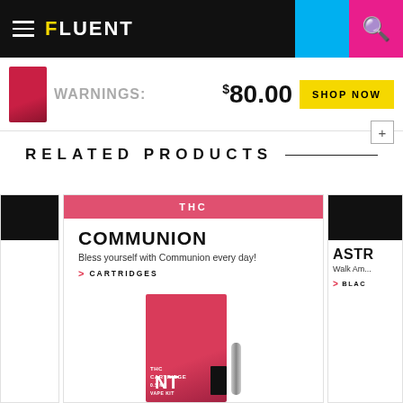FLUENT
WARNINGS:
$80.00
SHOP NOW
RELATED PRODUCTS
[Figure (photo): THC product card for COMMUNION - Bless yourself with Communion every day! - CARTRIDGES. Shows a pink/red product box.]
THC
COMMUNION
Bless yourself with Communion every day!
> CARTRIDGES
ASTR
Walk Am...
> BLAC